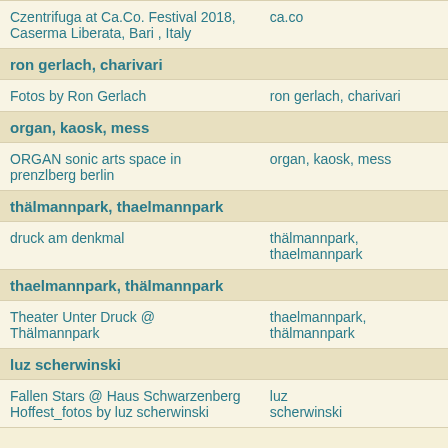| Czentrifuga at Ca.Co. Festival 2018, Caserma Liberata, Bari , Italy | ca.co |
| ron gerlach, charivari |  |
| Fotos by Ron Gerlach | ron gerlach, charivari |
| organ, kaosk, mess |  |
| ORGAN sonic arts space in prenzlberg berlin | organ, kaosk, mess |
| thälmannpark, thaelmannpark |  |
| druck am denkmal | thälmannpark, thaelmannpark |
| thaelmannpark, thälmannpark |  |
| Theater Unter Druck @ Thälmannpark | thaelmannpark, thälmannpark |
| luz scherwinski |  |
| Fallen Stars @ Haus Schwarzenberg
Hoffest_fotos by luz scherwinski | luz scherwinski |